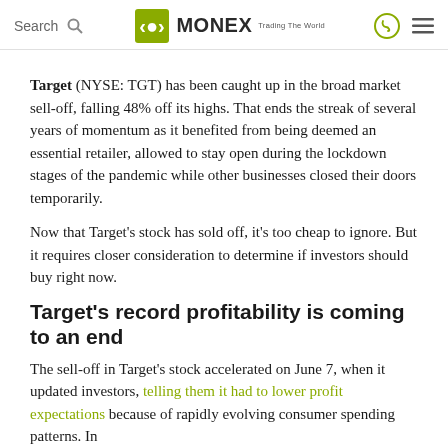Search | MONEX Trading The World
Target (NYSE: TGT) has been caught up in the broad market sell-off, falling 48% off its highs. That ends the streak of several years of momentum as it benefited from being deemed an essential retailer, allowed to stay open during the lockdown stages of the pandemic while other businesses closed their doors temporarily.
Now that Target’s stock has sold off, it’s too cheap to ignore. But it requires closer consideration to determine if investors should buy right now.
Target’s record profitability is coming to an end
The sell-off in Target's stock accelerated on June 7, when it updated investors, telling them it had to lower profit expectations because of rapidly evolving consumer spending patterns. In